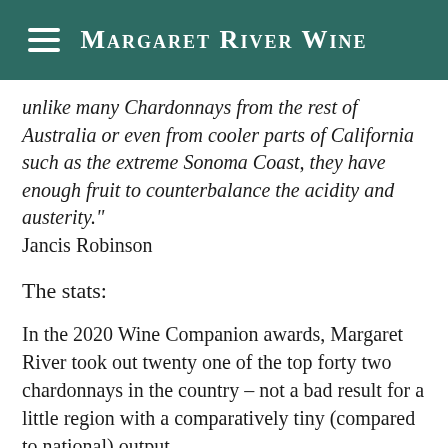Margaret River Wine
unlike many Chardonnays from the rest of Australia or even from cooler parts of California such as the extreme Sonoma Coast, they have enough fruit to counterbalance the acidity and austerity." Jancis Robinson
The stats:
In the 2020 Wine Companion awards, Margaret River took out twenty one of the top forty two chardonnays in the country – not a bad result for a little region with a comparatively tiny (compared to national) output.